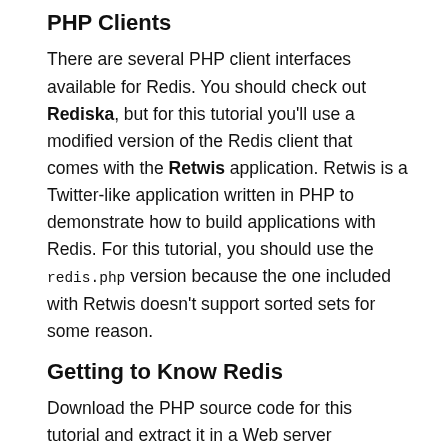PHP Clients
There are several PHP client interfaces available for Redis. You should check out Rediska, but for this tutorial you'll use a modified version of the Redis client that comes with the Retwis application. Retwis is a Twitter-like application written in PHP to demonstrate how to build applications with Redis. For this tutorial, you should use the redis.php version because the one included with Retwis doesn't support sorted sets for some reason.
Getting to Know Redis
Download the PHP source code for this tutorial and extract it in a Web server document directory. In the redis-tutorial directory you will find two files. One is the PHP client script called redis.php, which you'll use to interact with the Redis server. The other file is called index.php, which performs